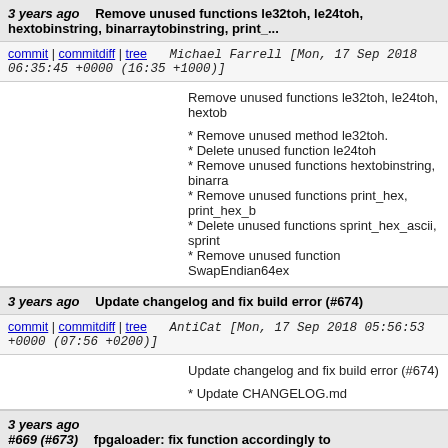3 years ago   Remove unused functions le32toh, le24toh, hextobinstring, binarraytobinstring, print_...
commit | commitdiff | tree   Michael Farrell [Mon, 17 Sep 2018 06:35:45 +0000 (16:35 +1000)]
Remove unused functions le32toh, le24toh, hextob
* Remove unused method le32toh.
* Delete unused function le24toh
* Remove unused functions hextobinstring, binarra
* Remove unused functions print_hex, print_hex_b
* Delete unused functions sprint_hex_ascii, sprint
* Remove unused function SwapEndian64ex
3 years ago   Update changelog and fix build error (#674)
commit | commitdiff | tree   AntiCat [Mon, 17 Sep 2018 05:56:53 +0000 (07:56 +0200)]
Update changelog and fix build error  (#674)
* Update CHANGELOG.md
3 years ago #669 (#673)   fpgaloader: fix function accordingly to
commit | commitdiff | tree   uhei [Mon, 17 Sep 2018 05:55:51 +0000 (07:55 +0200)]